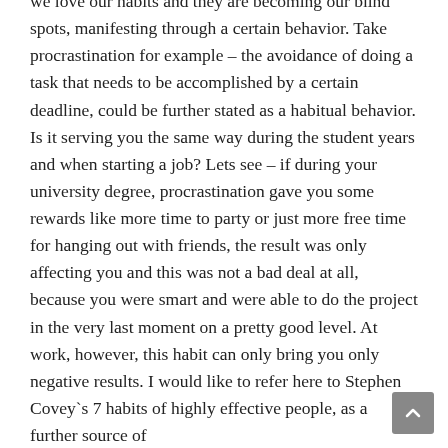we love our habits and they are becoming our blind spots, manifesting through a certain behavior. Take procrastination for example – the avoidance of doing a task that needs to be accomplished by a certain deadline, could be further stated as a habitual behavior. Is it serving you the same way during the student years and when starting a job? Lets see – if during your university degree, procrastination gave you some rewards like more time to party or just more free time for hanging out with friends, the result was only affecting you and this was not a bad deal at all, because you were smart and were able to do the project in the very last moment on a pretty good level. At work, however, this habit can only bring you only negative results. I would like to refer here to Stephen Covey`s 7 habits of highly effective people, as a further source of